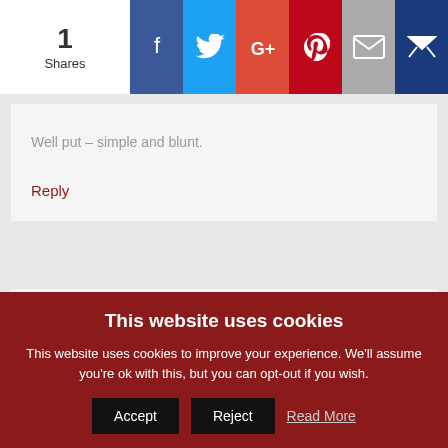[Figure (other): Social share bar with count '1 Shares' and icons for Facebook, Twitter, Google+, Pinterest, Email, and a crown/bookmark icon]
Well put – simple and blunt.
Reply
Matty Wichlinski says
AT
This website uses cookies
This website uses cookies to improve your experience. We'll assume you're ok with this, but you can opt-out if you wish.
Accept  Reject  Read More